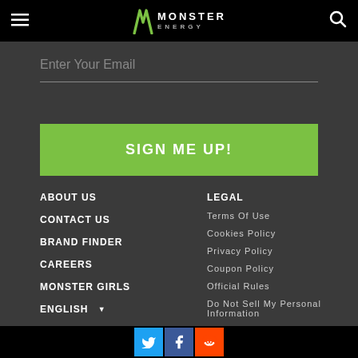Monster Energy header with hamburger menu, Monster Energy logo, and search icon
Enter Your Email
SIGN ME UP!
ABOUT US
CONTACT US
BRAND FINDER
CAREERS
MONSTER GIRLS
ENGLISH ▾
LEGAL
Terms Of Use
Cookies Policy
Privacy Policy
Coupon Policy
Official Rules
Do Not Sell My Personal Information
Social media icons: Twitter, Facebook, Reddit